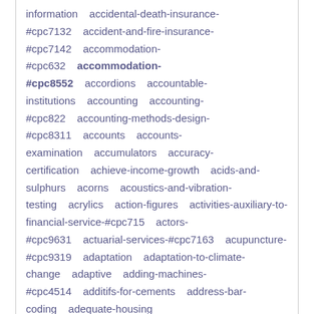information  accidental-death-insurance-#cpc7132  accident-and-fire-insurance-#cpc7142  accommodation-#cpc632  accommodation-#cpc8552  accordions  accountable-institutions  accounting  accounting-#cpc822  accounting-methods-design-#cpc8311  accounts  accounts-examination  accumulators  accuracy-certification  achieve-income-growth  acids-and-sulphurs  acorns  acoustics-and-vibration-testing  acrylics  action-figures  activities-auxiliary-to-financial-service-#cpc715  actors-#cpc9631  actuarial-services-#cpc7163  acupuncture-#cpc9319  adaptation  adaptation-to-climate-change  adaptive  adding-machines-#cpc4514  additifs-for-cements  address-bar-coding  adequate-housing
[Figure (other): Five empty star rating icons in a row]